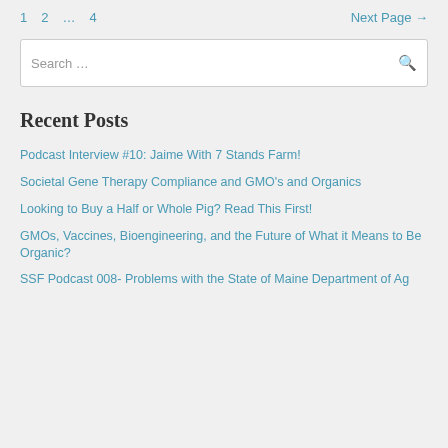1  2  …  4  Next Page →
Search …
Recent Posts
Podcast Interview #10: Jaime With 7 Stands Farm!
Societal Gene Therapy Compliance and GMO's and Organics
Looking to Buy a Half or Whole Pig? Read This First!
GMOs, Vaccines, Bioengineering, and the Future of What it Means to Be Organic?
SSF Podcast 008- Problems with the State of Maine Department of Ag